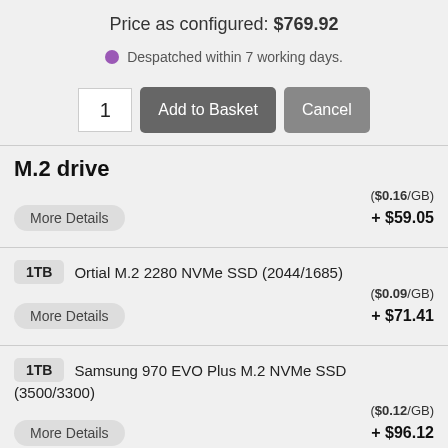Price as configured: $769.92
Despatched within 7 working days.
M.2 drive
($0.16/GB)
+ $59.05
1TB  Ortial M.2 2280 NVMe SSD (2044/1685)
($0.09/GB)
+ $71.41
1TB  Samsung 970 EVO Plus M.2 NVMe SSD (3500/3300)
($0.12/GB)
+ $96.12